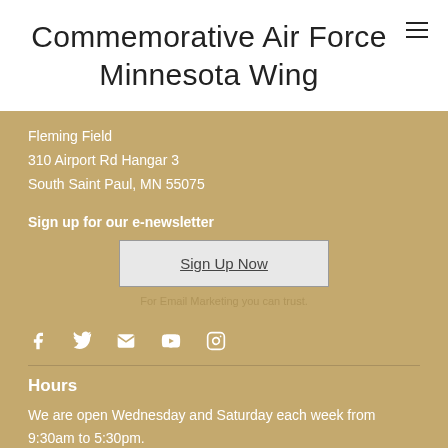Commemorative Air Force Minnesota Wing
Fleming Field
310 Airport Rd Hangar 3
South Saint Paul, MN 55075
Sign up for our e-newsletter
Sign Up Now
For Email Marketing you can trust.
[Figure (infographic): Social media icons: Facebook, Twitter, Email, YouTube, Instagram]
Hours
We are open Wednesday and Saturday each week from 9:30am to 5:30pm.